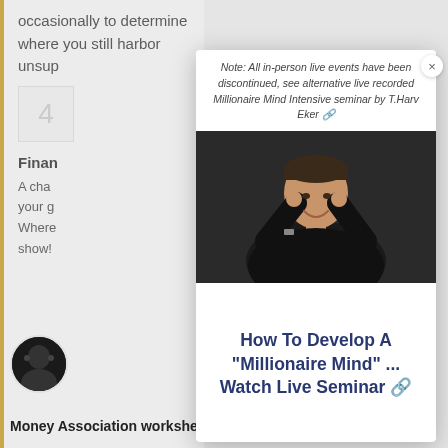occasionally to determine where you still harbor unsup
Note: All in-person live events have been discontinued, see alternative live recorded Millionaire Mind Intensive seminar by T.Harv Eker 🔗
[Figure (photo): A man in a black long-sleeve shirt pointing both index fingers to his temples, smiling at the camera against a dark background]
How To Develop A "Millionaire Mind" ... Watch Live Seminar 🔗
Finan
A cha your g Where show!
[Figure (photo): Small circular avatar of a man in black shirt pointing to his temples]
Money Association worksheet.